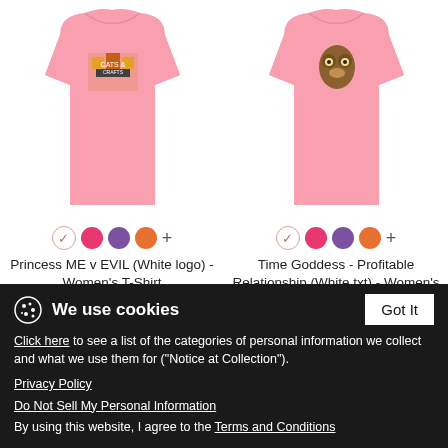[Figure (photo): Pink women's t-shirt with pixel art logo (Princess ME v EVIL)]
[Figure (photo): Pink women's t-shirt with graphic (Time Goddess - Profitable Relationship)]
Princess ME v EVIL (White logo) - Women's T-Shirt
$21.99
Time Goddess - Profitable Relationship (White txt) - Women's T-Shirt
$21.99
[Figure (photo): Dark pink/maroon hoodie with graphic design]
[Figure (photo): Pink long sleeve shirt with dog and heart graphic, New badge]
We use cookies
Click here to see a list of the categories of personal information we collect and what we use them for ("Notice at Collection").
Privacy Policy
Do Not Sell My Personal Information
By using this website, I agree to the Terms and Conditions